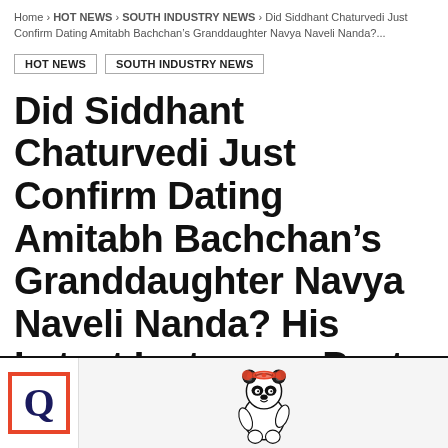Home › HOT NEWS › SOUTH INDUSTRY NEWS › Did Siddhant Chaturvedi Just Confirm Dating Amitabh Bachchan's Granddaughter Navya Naveli Nanda?...
HOT NEWS
SOUTH INDUSTRY NEWS
Did Siddhant Chaturvedi Just Confirm Dating Amitabh Bachchan's Granddaughter Navya Naveli Nanda? His Latest Instagram Post Sparks Rumours
12 June 2022
[Figure (screenshot): Advertisement banner at bottom with Q logo in red border box and a balloon panda figure]